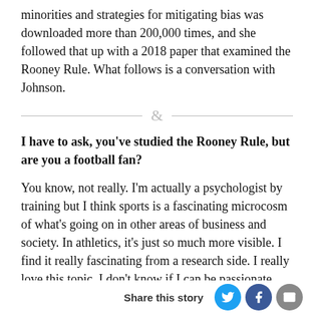minorities and strategies for mitigating bias was downloaded more than 200,000 times, and she followed that up with a 2018 paper that examined the Rooney Rule. What follows is a conversation with Johnson.
&
I have to ask, you've studied the Rooney Rule, but are you a football fan?
You know, not really. I'm actually a psychologist by training but I think sports is a fascinating microcosm of what's going on in other areas of business and society. In athletics, it's just so much more visible. I find it really fascinating from a research side. I really love this topic. I don't know if I can be passionate about the Rooney Rule, but it's something that I really
Share this story